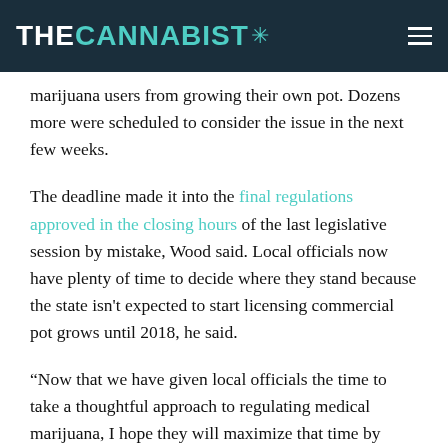THE CANNABIST
marijuana users from growing their own pot. Dozens more were scheduled to consider the issue in the next few weeks.
The deadline made it into the final regulations approved in the closing hours of the last legislative session by mistake, Wood said. Local officials now have plenty of time to decide where they stand because the state isn't expected to start licensing commercial pot grows until 2018, he said.
“Now that we have given local officials the time to take a thoughtful approach to regulating medical marijuana, I hope they will maximize that time by engaging with the public and having thorough discussions,” Wood said.
Although medical marijuana has been legal in